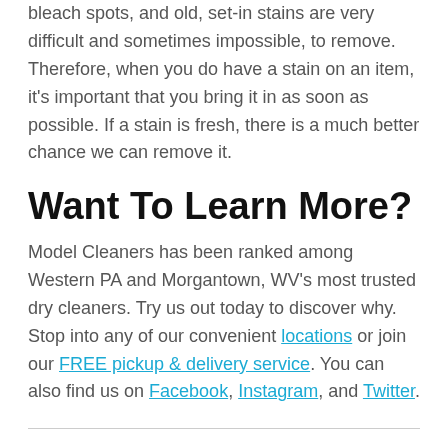bleach spots, and old, set-in stains are very difficult and sometimes impossible, to remove. Therefore, when you do have a stain on an item, it's important that you bring it in as soon as possible. If a stain is fresh, there is a much better chance we can remove it.
Want To Learn More?
Model Cleaners has been ranked among Western PA and Morgantown, WV's most trusted dry cleaners. Try us out today to discover why. Stop into any of our convenient locations or join our FREE pickup & delivery service. You can also find us on Facebook, Instagram, and Twitter.
Jersey Stain Removal